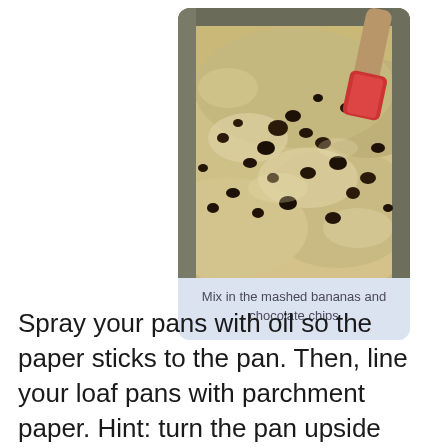[Figure (photo): Close-up photo of banana bread batter with chocolate chips in a mixing bowl, with a red and wood spatula visible in the upper right corner]
Mix in the mashed bananas and chocolate chips
Spray your pans with oil so the paper sticks to the pan. Then, line your loaf pans with parchment paper. Hint: turn the pan upside down, place the paper on the pan, and then cut out around the pan.